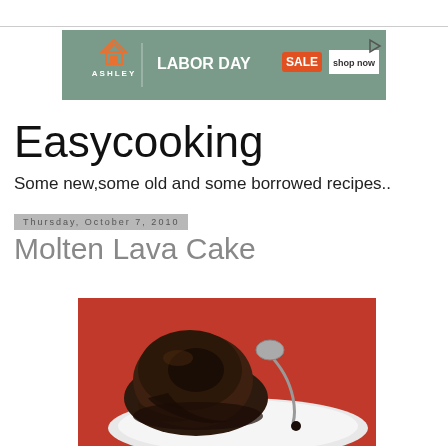[Figure (photo): Ashley Furniture Labor Day Sale advertisement banner with green/teal background, Ashley logo with house icon, LABOR DAY SALE text and shop now button]
Easycooking
Some new,some old and some borrowed recipes..
Thursday, October 7, 2010
Molten Lava Cake
[Figure (photo): A chocolate molten lava cake on a white plate, with liquid chocolate flowing out from the center, with a spoon beside it on a red background]